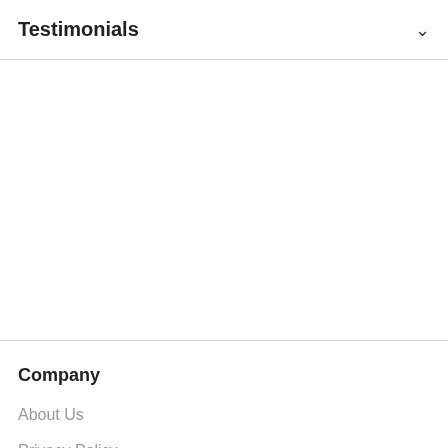Testimonials
Company
About Us
Privacy Policy
Quick Links